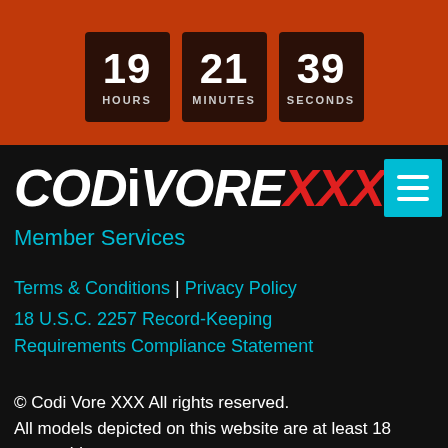19 HOURS 21 MINUTES 39 SECONDS
[Figure (logo): CODiVORE XXX logo in white and red italic bold text]
Member Services
Terms & Conditions | Privacy Policy
18 U.S.C. 2257 Record-Keeping Requirements Compliance Statement
© Codi Vore XXX All rights reserved.
All models depicted on this website are at least 18 years old.